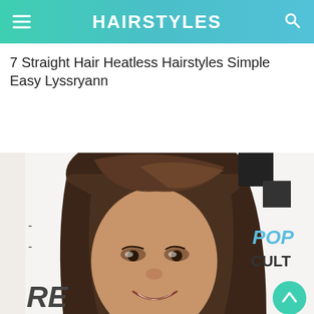HAIRSTYLES
7 Straight Hair Heatless Hairstyles Simple Easy Lyssryann
[Figure (photo): Young woman with straight brown hair styled in a half-up hairstyle, smiling at camera, photographed at a POP CULTURE event with step-and-repeat banner in background]